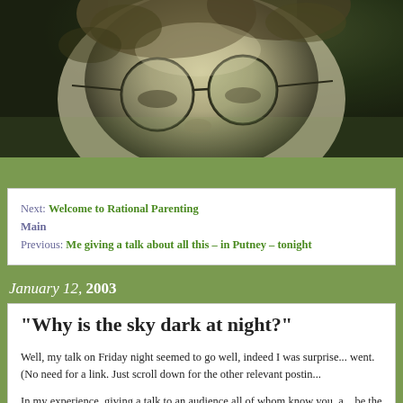[Figure (photo): Black and white close-up photo of a person wearing round glasses, cropped to show eyes and top of head]
Next: Welcome to Rational Parenting
Main
Previous: Me giving a talk about all this – in Putney – tonight
January 12, 2003
"Why is the sky dark at night?"
Well, my talk on Friday night seemed to go well, indeed I was surprise... went. (No need for a link. Just scroll down for the other relevant postin...
In my experience, giving a talk to an audience all of whom know you, a... be the case for me that night, can be a serious let-down. They already... rhetorical devices, jokes, comic mannerisms, and basic ways of thinki...